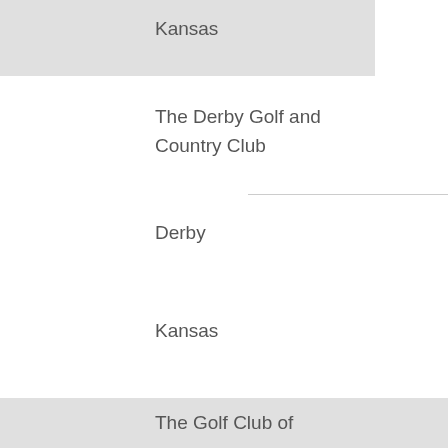Kansas
The Derby Golf and Country Club
Derby
Kansas
The Golf Club of Kansas
Lenexa
Kansas